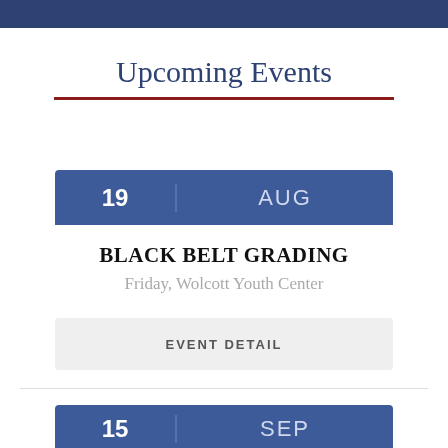Upcoming Events
19 AUG — BLACK BELT GRADING, Friday, Wolcott Youth Center
EVENT DETAIL
15 SEP